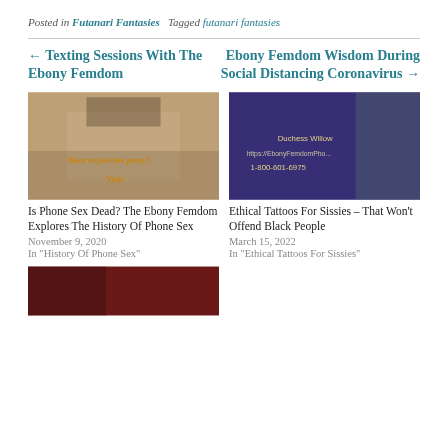Posted in Futanari Fantasies   Tagged futanari fantasies
← Texting Sessions With The Ebony Femdom
Ebony Femdom Wisdom During Social Distancing Coronavirus →
[Figure (photo): Woman in yellow top sitting on bed with promotional text overlay 'Want to join the party? Visit']
Is Phone Sex Dead? The Ebony Femdom Explores The History Of Phone Sex
November 9, 2020
In "History Of Phone Sex"
[Figure (photo): Dark photo with purple lighting, text overlay showing Duchess Willow and phone number 1-800-601-6975]
Ethical Tattoos For Sissies – That Won't Offend Black People
March 15, 2022
In "Ethical Tattoos For Sissies"
[Figure (photo): Partially visible photo at bottom of page with red/dark tones]